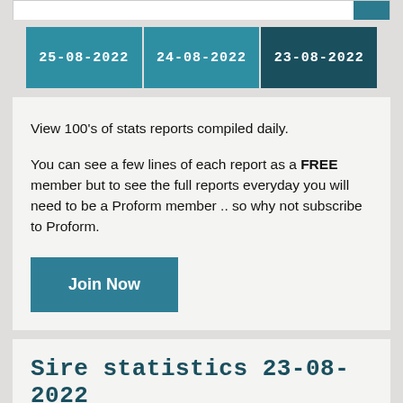25-08-2022 | 24-08-2022 | 23-08-2022
View 100's of stats reports compiled daily.
You can see a few lines of each report as a FREE member but to see the full reports everyday you will need to be a Proform member .. so why not subscribe to Proform.
Join Now
Sire statistics 23-08-2022